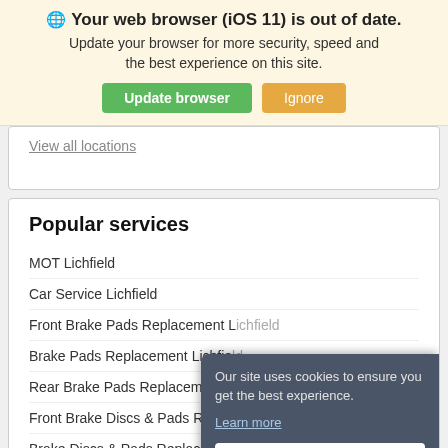🌐 Your web browser (iOS 11) is out of date. Update your browser for more security, speed and the best experience on this site.
Update browser | Ignore
View all locations
Popular services
MOT Lichfield
Car Service Lichfield
Front Brake Pads Replacement Lichfield
Brake Pads Replacement Lichfield
Rear Brake Pads Replacement Lichfield
Front Brake Discs & Pads Replacement Lichfield
Brake Discs & Pads Replacement
Rear Brake Discs & Pads Replacement Lichfield
Our site uses cookies to ensure you get the best experience. Learn more OK